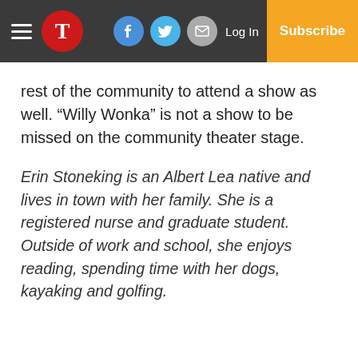T | Log In | Subscribe
rest of the community to attend a show as well. “Willy Wonka” is not a show to be missed on the community theater stage.
Erin Stoneking is an Albert Lea native and lives in town with her family. She is a registered nurse and graduate student. Outside of work and school, she enjoys reading, spending time with her dogs, kayaking and golfing.